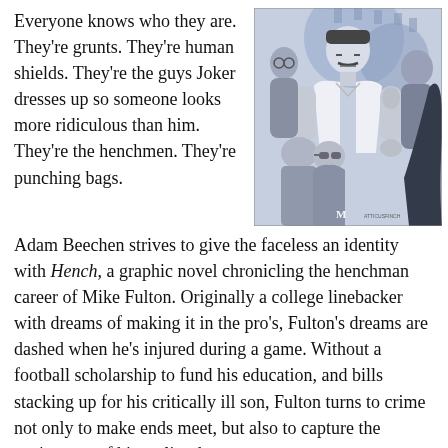Everyone knows who they are. They're grunts. They're human shields. They're the guys Joker dresses up so someone looks more ridiculous than him. They're the henchmen. They're punching bags.
[Figure (illustration): Black and white comic book illustration showing a group of characters including a muscular man in a white t-shirt in the center, surrounded by other figures with various expressions, rendered in a blue-gray tonal style.]
Adam Beechen strives to give the faceless an identity with Hench, a graphic novel chronicling the henchman career of Mike Fulton. Originally a college linebacker with dreams of making it in the pro's, Fulton's dreams are dashed when he's injured during a game. Without a football scholarship to fund his education, and bills stacking up for his critically ill son, Fulton turns to crime not only to make ends meet, but also to capture the excitement of his earlier days.
The tale opens with Fulton holding a gun to the head of a bound and apparently helpless superhero named The Still of The Night. The rest of the story is told in flashback as Fulton reflects upon how he could've mucked up his life enough to end up in a situation where he either shoots or kills a...